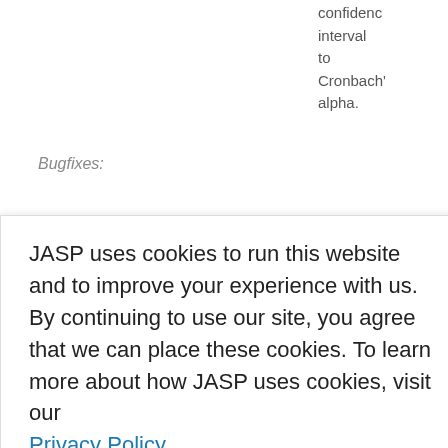confidence interval to Cronbach's alpha.
Bugfixes:
lot howing ny results n Mac #1831). confidence intervals clarified.
JASP uses cookies to run this website and to improve your experience with us. By continuing to use our site, you agree that we can place these cookies. To learn more about how JASP uses cookies, visit our Privacy Policy.
Got it!
Fixed